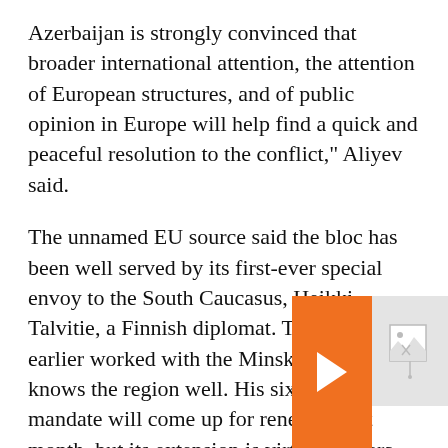Azerbaijan is strongly convinced that broader international attention, the attention of European structures, and of public opinion in Europe will help find a quick and peaceful resolution to the conflict," Aliyev said.
The unnamed EU source said the bloc has been well served by its first-ever special envoy to the South Caucasus, Heikki Talvitie, a Finnish diplomat. Talvitie has earlier worked with the Minsk group and knows the region well. His six-month mandate will come up for renewal next month, but its extension is virtually guara[nteed].
[Figure (other): Orange navigation bar with right arrow and related article thumbnail (broken image icon on gray background)]
Despite Sweeping Sanctions Over The Ukraine War, Russian Unemployment Touches Post-Soviet Low. Here's Why.
The EU official[s expressed] support for the [process, while] pursuing a wid[er approach] involving Azer[baijan and]...